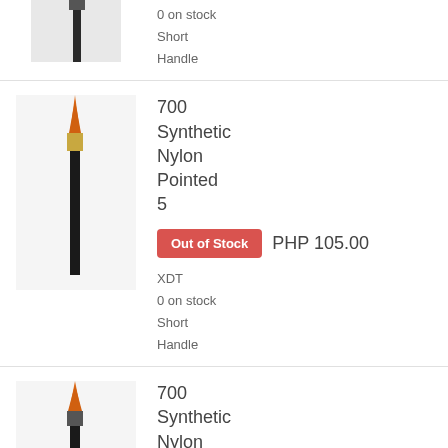[Figure (photo): Partial view of a paintbrush with dark handle, cropped at top]
0 on stock
Short
Handle
[Figure (photo): Paintbrush with orange bristles, gold ferrule, and black handle (700 Synthetic Nylon Pointed 5)]
700 Synthetic Nylon Pointed 5
Out of Stock
PHP 105.00
XDT
0 on stock
Short
Handle
[Figure (photo): Paintbrush with orange bristles and black handle (700 Synthetic Nylon Pointed 6), with Facebook Messenger icon overlay]
700 Synthetic Nylon Pointed 6
Out of Stock
PHP 110.00
XDT
0 on stock
Short